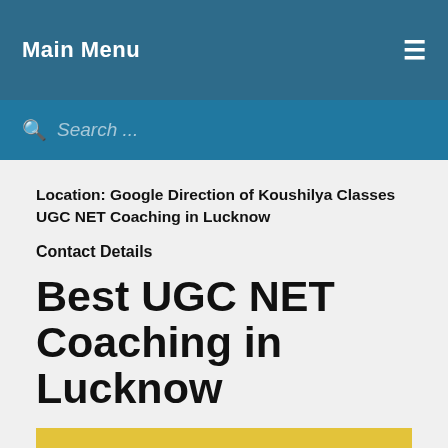Main Menu
Search ...
Location: Google Direction of Koushilya Classes UGC NET Coaching in Lucknow
Contact Details
Best UGC NET Coaching in Lucknow
[Figure (other): Yellow banner bar at the bottom of the page, partially visible]